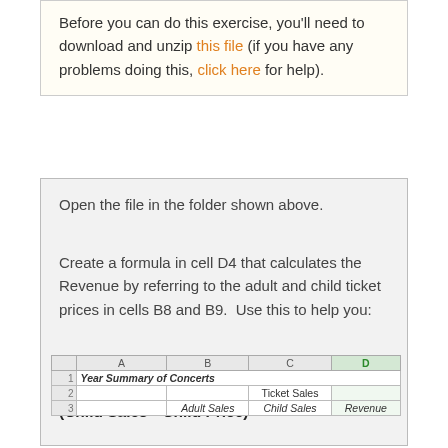Before you can do this exercise, you'll need to download and unzip this file (if you have any problems doing this, click here for help).
Open the file in the folder shown above.
Create a formula in cell D4 that calculates the Revenue by referring to the adult and child ticket prices in cells B8 and B9.  Use this to help you:
Revenue = (Adult Sales * Adult price) + (Child Sales * Child Price)
[Figure (screenshot): Spreadsheet showing Year Summary of Concerts with columns A, B, C, D (highlighted green). Row 1: Year Summary of Concerts. Row 2: Ticket Sales (in C). Row 3: Adult Sales, Child Sales, Revenue headers.]